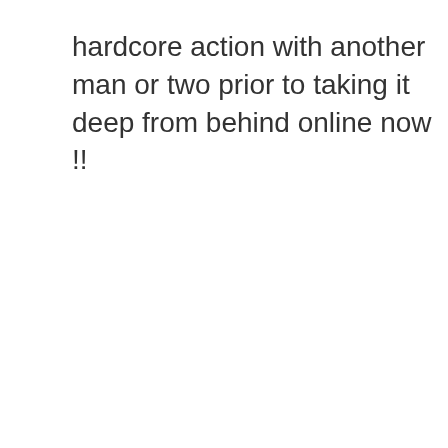hardcore action with another man or two prior to taking it deep from behind online now !!